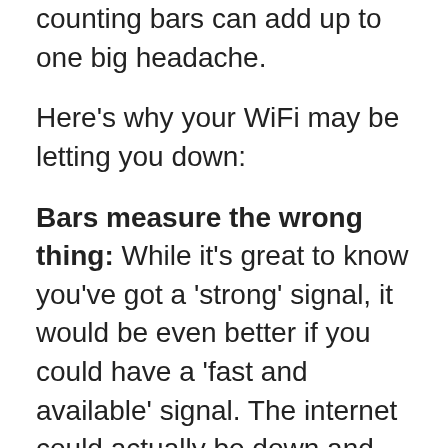counting bars can add up to one big headache.
Here's why your WiFi may be letting you down:
Bars measure the wrong thing: While it's great to know you've got a 'strong' signal, it would be even better if you could have a 'fast and available' signal. The internet could actually be down and you'd still have full bars because it's really only measuring how close to the Wi-Fi router you are. That proximity measure doesn't take into account how many devices are fighting for the same